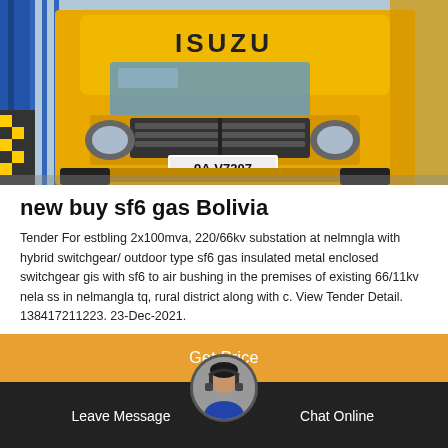[Figure (photo): Front view of a yellow ISUZU truck with license plate 9A-V7207, parked in front of blue metal gates/fence. Hazard stripes visible on left side.]
new buy sf6 gas Bolivia
Tender For estbling 2x100mva, 220/66kv substation at nelmngla with hybrid switchgear/ outdoor type sf6 gas insulated metal enclosed switchgear gis with sf6 to air bushing in the premises of existing 66/11kv nela ss in nelmangla tq, rural district along with c. View Tender Detail. 138417211223. 23-Dec-2021.
Get Price
Leave Message   Chat Online